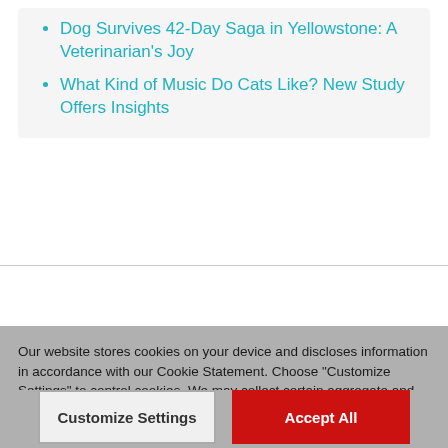Dog Survives 42-Day Saga in Yellowstone: A Veterinarian's Joy
What Kind of Music Do Cats Like? New Study Offers Insights
Our website stores cookies on your device and discloses information in accordance with our Cookie Statement. Choose "Customize Settings" to control cookies. We may collect certain aggregate and anonymized data from your browser independent of your cookie preferences. Cookie Statement
Customize Settings
Accept All